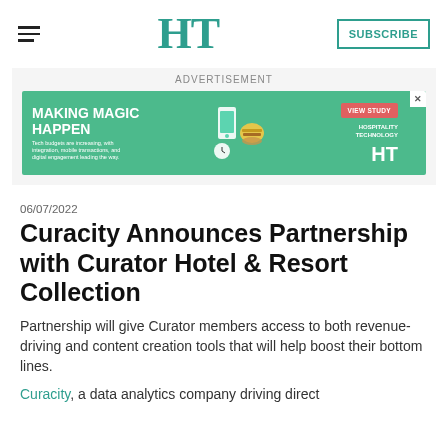HT | SUBSCRIBE
[Figure (other): Advertisement banner with green background reading MAKING MAGIC HAPPEN with hospitality technology imagery and HT logo, VIEW STUDY button]
ADVERTISEMENT
06/07/2022
Curacity Announces Partnership with Curator Hotel & Resort Collection
Partnership will give Curator members access to both revenue-driving and content creation tools that will help boost their bottom lines.
Curacity, a data analytics company driving direct